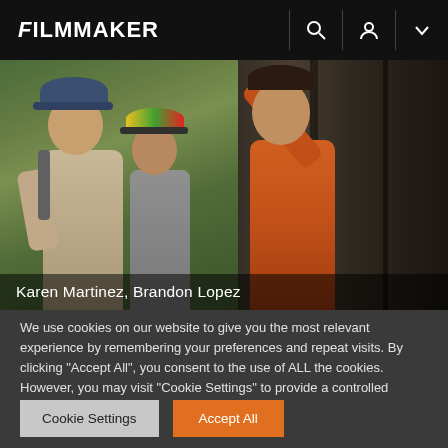FILMMAKER
[Figure (photo): Film still showing two people near a train. On the left, a person in a beige shirt and cap with a backpack. In the center-right, a person in an orange shirt reaching toward a train car, with jungle/forest background.]
Karen Martinez, Brandon Lopez
We use cookies on our website to give you the most relevant experience by remembering your preferences and repeat visits. By clicking "Accept All", you consent to the use of ALL the cookies. However, you may visit "Cookie Settings" to provide a controlled consent.
Cookie Settings
Accept All